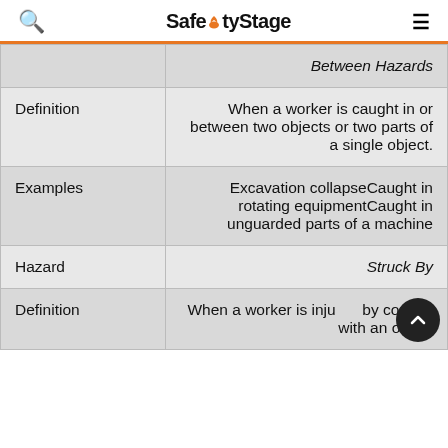SafetyStage
|  |  |
| --- | --- |
|  | Between Hazards |
| Definition | When a worker is caught in or between two objects or two parts of a single object. |
| Examples | Excavation collapseCaught in rotating equipmentCaught in unguarded parts of a machine |
| Hazard | Struck By |
| Definition | When a worker is inju by contact with an object |